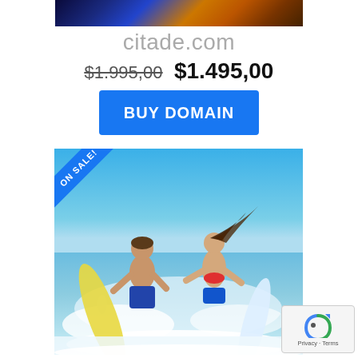[Figure (photo): Partial view of a decorative image at the top of the page with dark blue and orange/gold tones]
citade.com
$1.995,00  $1.495,00
BUY DOMAIN
[Figure (photo): Photo of two surfers (a man and a woman) running into the ocean carrying surfboards, with blue sky and ocean waves. An 'ON SALE!' ribbon is overlaid on the top-left corner.]
[Figure (other): reCAPTCHA widget with Privacy and Terms links]